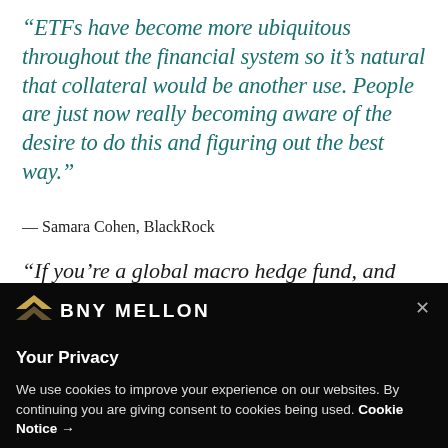“ETFs have become more ubiquitous throughout the financial system so it’s natural that collateral would be another use. People are just now really becoming aware of the desire to do this and figuring out the best way.”
— Samara Cohen, BlackRock
“If you’re a global macro hedge fund, and you don’t
[Figure (logo): BNY Mellon logo with arrow/chevron icon and company name in white on black background]
Your Privacy
We use cookies to improve your experience on our websites. By continuing you are giving consent to cookies being used. Cookie Notice →